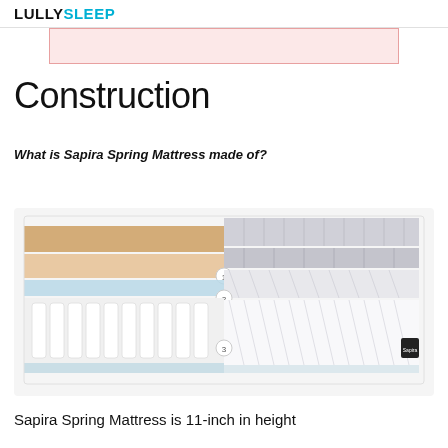LULLYSLEEP
[Figure (other): Pink/red bordered box partially visible at top of page, likely a call-to-action or alert box]
Construction
What is Sapira Spring Mattress made of?
[Figure (illustration): Cross-section diagram of Sapira Spring Mattress showing layered construction with three numbered layers: top foam layers (beige/tan color), transition layer (light blue), and spring coil base layer (white), with a quilted gray cover on right side]
Sapira Spring Mattress is 11-inch in height